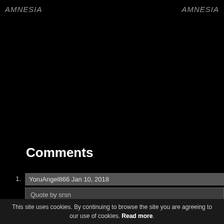AMNESIA   AMNESIA
Comments
1. YoruAngel866 Jan 10, 2018
Quote by srsn
OEMG You're back! Upload more walls, miss your sistah too!
im finishing up my works one by one :D
ah my photoshop and pc have been going on my nerves, can't use them
whats up :D
i cant wait for that code realize wip you are doing <3 i love the game :D
2. Alenas Retired Moderator Aug 15, 2016
This site uses cookies. By continuing to browse the site you are agreeing to our use of cookies. Read more.